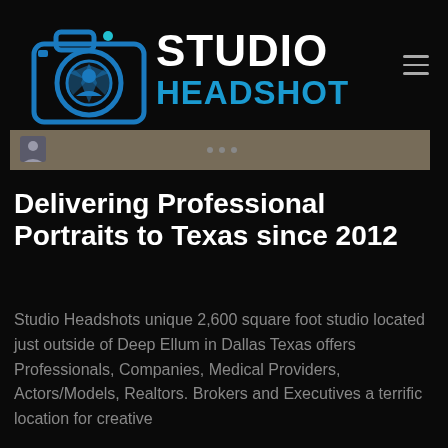Studio Headshots
[Figure (logo): Studio Headshots logo: blue camera icon with aperture design and person silhouette, with text STUDIO HEADSHOTS in white and blue]
[Figure (photo): Partial photo strip showing a dark scene, with a small person icon on the left and dots in the center]
Delivering Professional Portraits to Texas since 2012
Studio Headshots unique 2,600 square foot studio located just outside of Deep Ellum in Dallas Texas offers Professionals, Companies, Medical Providers, Actors/Models, Realtors. Brokers and Executives a terrific location for creative